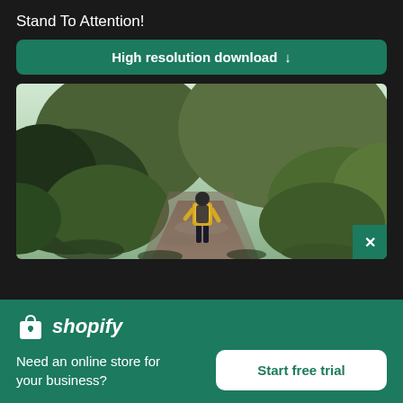Stand To Attention!
High resolution download ↓
[Figure (photo): Person hiking on a mountain trail surrounded by lush green vegetation, viewed from behind, wearing a yellow jacket and dark backpack]
[Figure (logo): Shopify logo with shopping bag icon and italic text 'shopify']
Need an online store for your business?
Start free trial